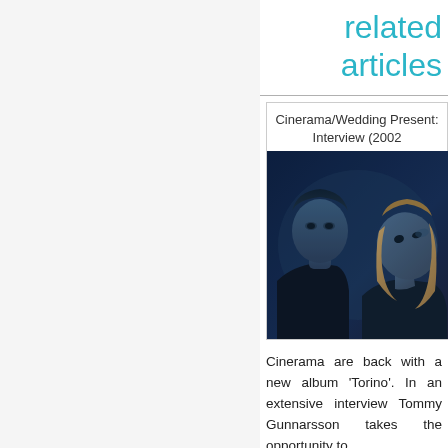related articles
[Figure (photo): A man and woman photographed together against a dark blue background]
Cinerama/Wedding Present: Interview (2002
Cinerama are back with a new album 'Torino'. In an extensive interview Tommy Gunnarsson takes the opportunity to